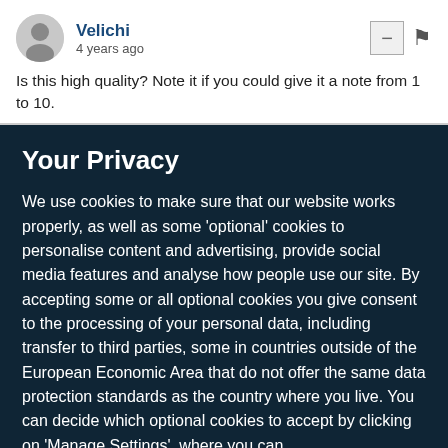[Figure (illustration): User avatar silhouette icon (gray circle with person silhouette)]
Velichi
4 years ago
Is this high quality? Note it if you could give it a note from 1 to 10.
Your Privacy
We use cookies to make sure that our website works properly, as well as some 'optional' cookies to personalise content and advertising, provide social media features and analyse how people use our site. By accepting some or all optional cookies you give consent to the processing of your personal data, including transfer to third parties, some in countries outside of the European Economic Area that do not offer the same data protection standards as the country where you live. You can decide which optional cookies to accept by clicking on 'Manage Settings', where you can
Get the most important science stories of the day, free in your inbox.
Sign up for Nature Briefing